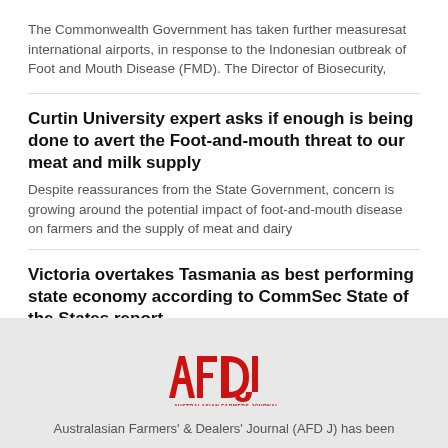The Commonwealth Government has taken further measuresat international airports, in response to the Indonesian outbreak of Foot and Mouth Disease (FMD). The Director of Biosecurity,
Curtin University expert asks if enough is being done to avert the Foot-and-mouth threat to our meat and milk supply
Despite reassurances from the State Government, concern is growing around the potential impact of foot-and-mouth disease on farmers and the supply of meat and dairy
Victoria overtakes Tasmania as best performing state economy according to CommSec State of the States report
The latest quarterly CommSec data shows Victoria is the best performing economy, ending Tasmania's long run at the top. After nine quarters at the top,
[Figure (logo): AFDJ logo - red stylized letters with text 'AUSTRALASIAN FARMERS JOURNAL']
Australasian Farmers' & Dealers' Journal (AFD J) has been